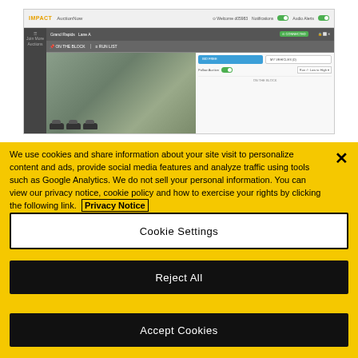[Figure (screenshot): Screenshot of Impact Auto Auctions AuctionNow web interface showing Grand Rapids Lane A with a video feed of cars and a run list panel]
We use cookies and share information about your site visit to personalize content and ads, provide social media features and analyze traffic using tools such as Google Analytics. We do not sell your personal information. You can view our privacy notice, cookie policy and how to exercise your rights by clicking the following link. Privacy Notice
Cookie Settings
Reject All
Accept Cookies